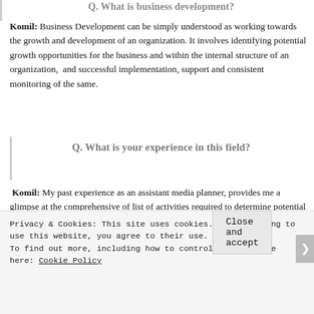Q. What is business development?
Komil: Business Development can be simply understood as working towards the growth and development of an organization. It involves identifying potential growth opportunities for the business and within the internal structure of an organization, and successful implementation, support and consistent monitoring of the same.
Q. What is your experience in this field?
Komil: My past experience as an assistant media planner, provides me a glimpse at the comprehensive of list of activities required to determine potential media growth opportunities for brands and clients. However, this is a relatively new profile for me and I wish to take this opportunity to develop my knowledge and enhance the scope of our business at the same time.
Privacy & Cookies: This site uses cookies. By continuing to use this website, you agree to their use. To find out more, including how to control cookies, see here: Cookie Policy